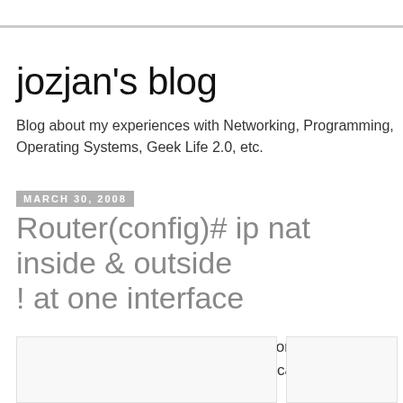jozjan's blog
Blog about my experiences with Networking, Programming, Operating Systems, Geek Life 2.0, etc.
March 30, 2008
Router(config)# ip nat inside & outside ! at one interface
Let's face a situation. You have a network with 2 routers (one router and one L3 switch) as you can see on the this diagram:
[Figure (other): Network diagram partially visible at bottom of page]